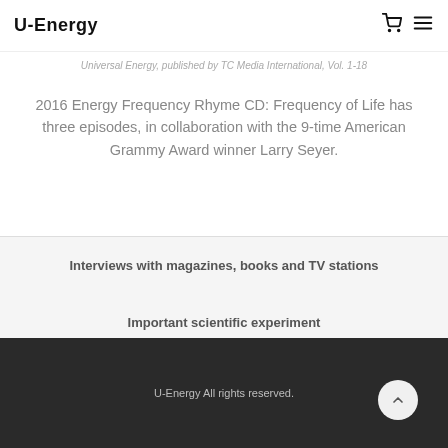U-Energy
Universal Energy, published by TC Media International, Vol. 1-18
2016 Energy Frequency Rhyme CD: Frequency of Life has three episodes, in collaboration with the 9-time American Grammy Award winner Larry Seyer.
Interviews with magazines, books and TV stations
Important scientific experiment
U-Energy All rights reserved.